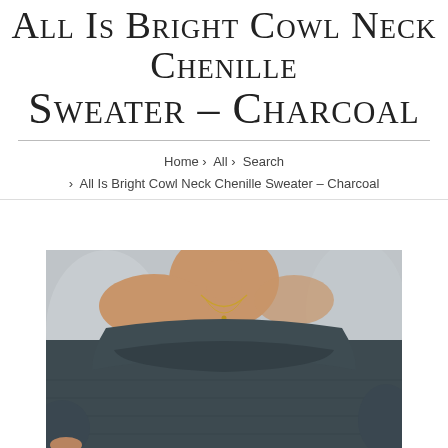All Is Bright Cowl Neck Chenille Sweater - Charcoal
Home › All › Search › All Is Bright Cowl Neck Chenille Sweater - Charcoal
[Figure (photo): A person wearing a charcoal chenille cowl neck sweater worn off-shoulder, with gold layered necklaces visible. The sweater is dark grey/charcoal and appears very soft and textured.]